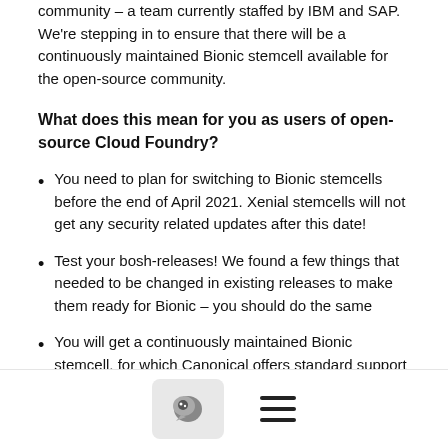community – a team currently staffed by IBM and SAP. We're stepping in to ensure that there will be a continuously maintained Bionic stemcell available for the open-source community.
What does this mean for you as users of open-source Cloud Foundry?
You need to plan for switching to Bionic stemcells before the end of April 2021. Xenial stemcells will not get any security related updates after this date!
Test your bosh-releases! We found a few things that needed to be changed in existing releases to make them ready for Bionic – you should do the same
You will get a continuously maintained Bionic stemcell, for which Canonical offers standard support until the end of April 2023
What is the current state?